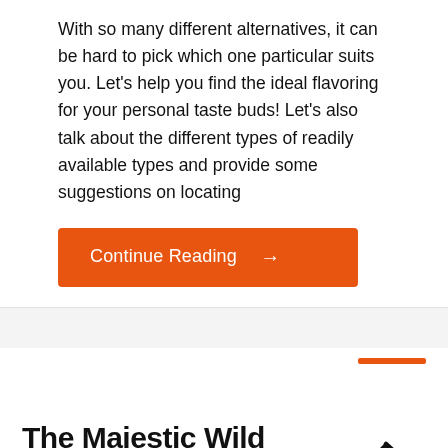With so many different alternatives, it can be hard to pick which one particular suits you. Let's help you find the ideal flavoring for your personal taste buds! Let's also talk about the different types of readily available types and provide some suggestions on locating
[Figure (other): Orange 'Continue Reading →' button]
The Majestic Wild Horses of Camargue: A herd of beautiful beasts